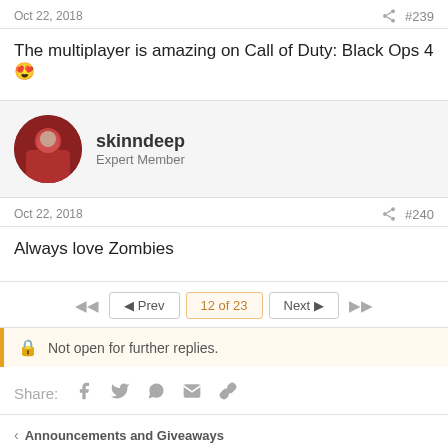Oct 22, 2018  #239
The multiplayer is amazing on Call of Duty: Black Ops 4 😍
skinndeep
Expert Member
Oct 22, 2018  #240
Always love Zombies
◀◀  ◀ Prev  12 of 23  Next ▶  ▶▶
🔒 Not open for further replies.
Share:
< Announcements and Giveaways